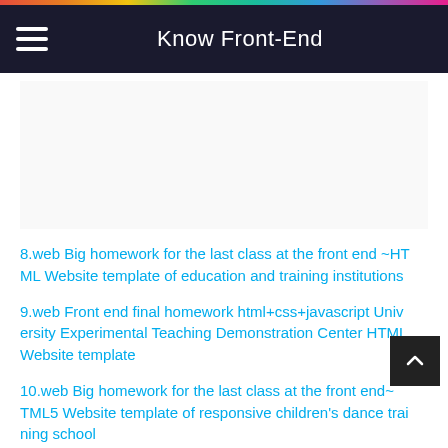Know Front-End
8.web Big homework for the last class at the front end ~HTML Website template of education and training institutions
9.web Front end final homework html+css+javascript University Experimental Teaching Demonstration Center HTML Website template
10.web Big homework for the last class at the front end ~HTML5 Website template of responsive children's dance training school